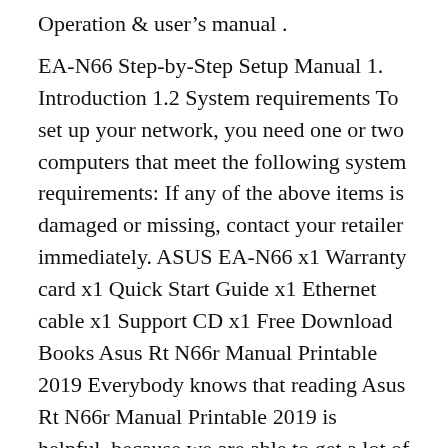Operation & user’s manual .
EA-N66 Step-by-Step Setup Manual 1. Introduction 1.2 System requirements To set up your network, you need one or two computers that meet the following system requirements: If any of the above items is damaged or missing, contact your retailer immediately. ASUS EA-N66 x1 Warranty card x1 Quick Start Guide x1 Ethernet cable x1 Support CD x1 Free Download Books Asus Rt N66r Manual Printable 2019 Everybody knows that reading Asus Rt N66r Manual Printable 2019 is helpful, because we are able to get a lot of information in the resources. Technology has developed, and reading Asus Rt N66r Manual Printable 2019 books can be more convenient and much easier. We are able to read